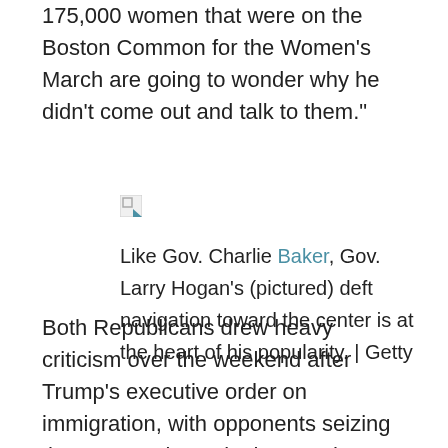175,000 women that were on the Boston Common for the Women's March are going to wonder why he didn't come out and talk to them."
[Figure (photo): Broken image placeholder icon]
Like Gov. Charlie Baker, Gov. Larry Hogan's (pictured) deft navigation toward the center is at the heart of his popularity. | Getty
Both Republicans drew heavy criticism over the weekend after Trump's executive order on immigration, with opponents seizing the opportunity to tie them to the president and demanding they take a stand on the controversial policy.